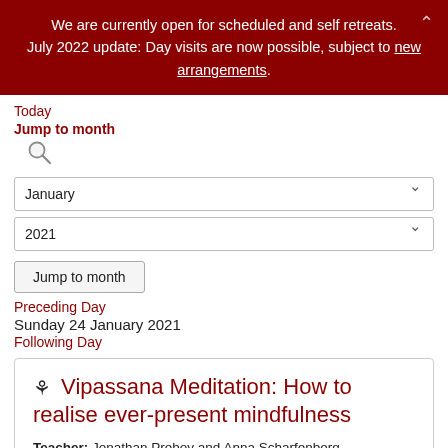We are currently open for scheduled and self retreats. July 2022 update: Day visits are now possible, subject to new arrangements.
Today
Jump to month
January (dropdown)
2021 (dropdown)
Jump to month (button)
Preceding Day
Sunday 24 January 2021
Following Day
Vipassana Meditation: How to realise ever-present mindfulness
Teacher: Jonathan Preboy and Anna Scharfenberg
Cost: 2 days accommodation + R400 surcharge
Date: (cut off)